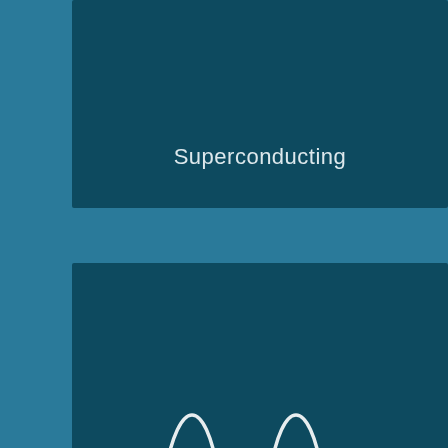[Figure (illustration): Dark teal card panel partially visible at top showing 'Superconducting' label on dark blue-teal background]
Superconducting
[Figure (illustration): Dark teal card panel with white wave/oscillation icon (sinusoidal wave pattern) centered in upper portion and 'Photonics' label in lower portion]
Photonics
[Figure (illustration): Dark teal card panel partially visible at bottom showing a geodesic dome or fullerene molecule wireframe icon]